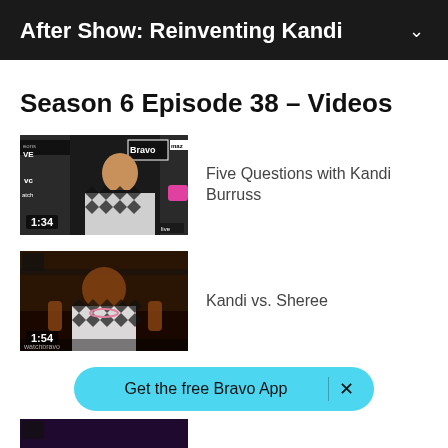After Show: Reinventing Kandi
Season 6 Episode 38 - Videos
[Figure (screenshot): Video thumbnail showing woman in black-and-white houndstooth outfit at a Bravo/Mazel TV backdrop. Duration badge shows 1:34.]
Five Questions with Kandi Burruss
[Figure (screenshot): Video thumbnail showing woman in houndstooth outfit gesturing with hands, colorful studio background. Duration badge shows 1:54.]
Kandi vs. Sheree
[Figure (screenshot): Third video thumbnail, partially visible at bottom of page with purple/dark background.]
Get the free Bravo App